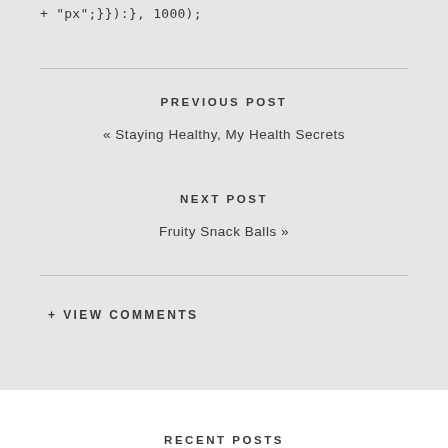+ "px";}}):}, 1000);
PREVIOUS POST
« Staying Healthy, My Health Secrets
NEXT POST
Fruity Snack Balls »
+ VIEW COMMENTS
RECENT POSTS